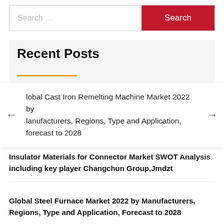Search …
Search
Recent Posts
Global Cast Iron Remelting Machine Market 2022 by Manufacturers, Regions, Type and Application, Forecast to 2028
Insulator Materials for Connector Market SWOT Analysis including key player Changchun Group,Jmdzt
Global Steel Furnace Market 2022 by Manufacturers, Regions, Type and Application, Forecast to 2028